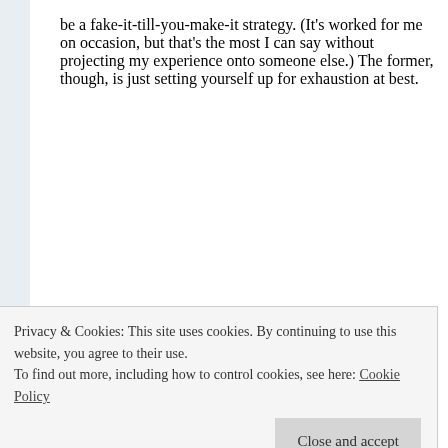be a fake-it-till-you-make-it strategy. (It's worked for me on occasion, but that's the most I can say without projecting my experience onto someone else.) The former, though, is just setting yourself up for exhaustion at best.
the laughing linguist
DECEMBER 5, 2012 AT 1:56
Privacy & Cookies: This site uses cookies. By continuing to use this website, you agree to their use.
To find out more, including how to control cookies, see here: Cookie Policy
it was meant), because I took the